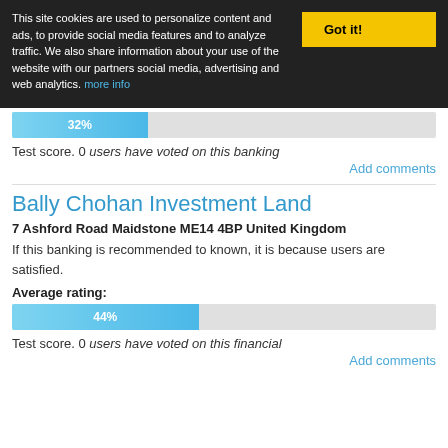This site cookies are used to personalize content and ads, to provide social media features and to analyze traffic. We also share information about your use of the website with our partners social media, advertising and web analytics. more info
Got it!
[Figure (bar-chart): Average rating]
Test score. 0 users have voted on this banking
Add comments
Bally Chohan Investment Land
7 Ashford Road Maidstone ME14 4BP United Kingdom
If this banking is recommended to known, it is because users are satisfied.
Average rating:
[Figure (bar-chart): Average rating]
Test score. 0 users have voted on this financial
Add comments